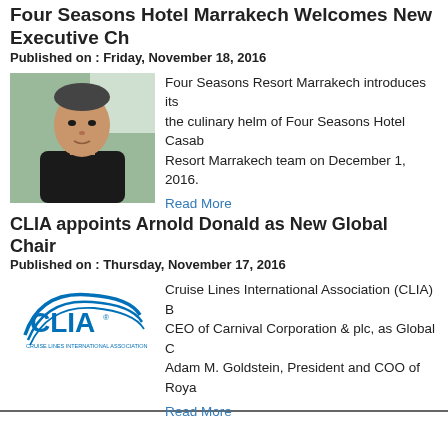Four Seasons Hotel Marrakech Welcomes New Executive Ch...
Published on : Friday, November 18, 2016
[Figure (photo): Headshot of a man in a black shirt outdoors]
Four Seasons Resort Marrakech introduces its... the culinary helm of Four Seasons Hotel Casab... Resort Marrakech team on December 1, 2016.
Read More
CLIA appoints Arnold Donald as New Global Chair
Published on : Thursday, November 17, 2016
[Figure (logo): CLIA (Cruise Lines International Association) logo]
Cruise Lines International Association (CLIA) B... CEO of Carnival Corporation & plc, as Global C... Adam M. Goldstein, President and COO of Roya...
Read More